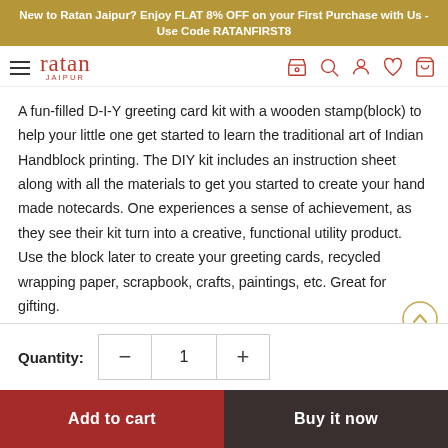New to Ratan Jaipur? Enjoy FLAT 8% OFF on your First Purchase with Us - Use Code RATANFIRST8
[Figure (logo): Ratan Jaipur logo with hamburger menu and navigation icons (store, search, user, heart, cart)]
A fun-filled D-I-Y greeting card kit with a wooden stamp(block) to help your little one get started to learn the traditional art of Indian Handblock printing. The DIY kit includes an instruction sheet along with all the materials to get you started to create your hand made notecards. One experiences a sense of achievement, as they see their kit turn into a creative, functional utility product. Use the block later to create your greeting cards, recycled wrapping paper, scrapbook, crafts, paintings, etc. Great for gifting. Kit includes:
Notecards with Envelopes - 6
Quantity: 1
Add to cart
Buy it now